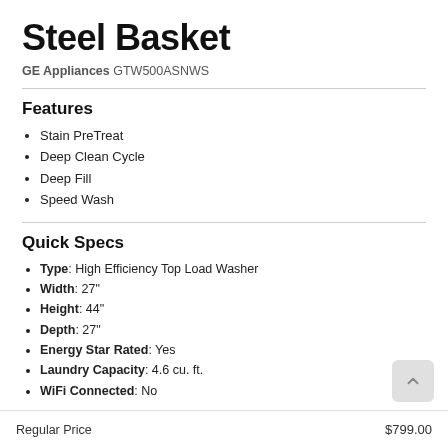Steel Basket
GE Appliances GTW500ASNWS
Features
Stain PreTreat
Deep Clean Cycle
Deep Fill
Speed Wash
Quick Specs
Type: High Efficiency Top Load Washer
Width: 27"
Height: 44"
Depth: 27"
Energy Star Rated: Yes
Laundry Capacity: 4.6 cu. ft.
WiFi Connected: No
See More
Regular Price $799.00